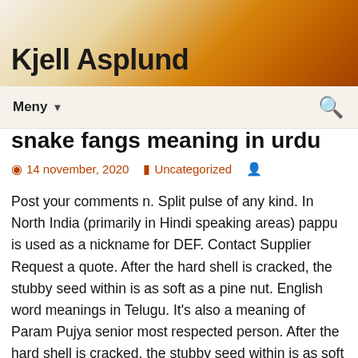Kjell Asplund
snake fangs meaning in urdu
14 november, 2020   Uncategorized
Post your comments n. Split pulse of any kind. In North India (primarily in Hindi speaking areas) pappu is used as a nickname for DEF. Contact Supplier Request a quote. After the hard shell is cracked, the stubby seed within is as soft as a pine nut. English word meanings in Telugu. It's also a meaning of Param Pujya senior most respected person. After the hard shell is cracked, the stubby seed within is as soft as a pine nut. Here's a list of translations. Searched term : tree chironji sapida. Green Hill Agro - Offering Dried Organic Chironji with pod, Packaging Type: Jute Bags in